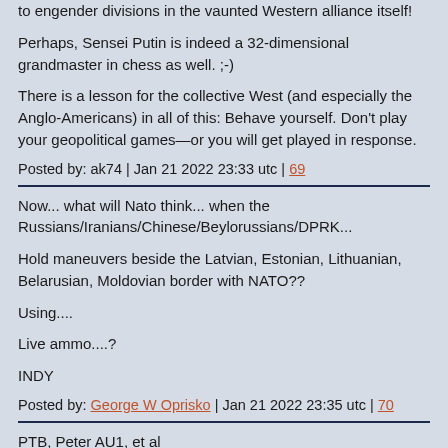to engender divisions in the vaunted Western alliance itself!
Perhaps, Sensei Putin is indeed a 32-dimensional grandmaster in chess as well. ;-)
There is a lesson for the collective West (and especially the Anglo-Americans) in all of this: Behave yourself. Don’t play your geopolitical games—or you will get played in response.
Posted by: ak74 | Jan 21 2022 23:33 utc | 69
Now... what will Nato think... when the Russians/Iranians/Chinese/Beylorussians/DPRK...
Hold maneuvers beside the Latvian, Estonian, Lithuanian, Belarusian, Moldovian border with NATO??
Using....
Live ammo....?
INDY
Posted by: George W Oprisko | Jan 21 2022 23:35 utc | 70
PTB, Peter AU1, et al
Interesting discussion. This one of astute decisions at risk...